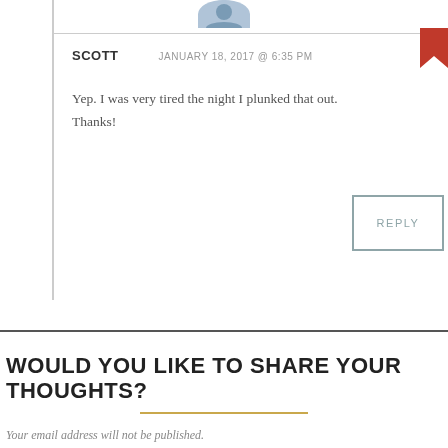[Figure (photo): Circular avatar photo of Scott, partially visible at top center of page]
SCOTT    JANUARY 18, 2017 @ 6:35 PM
Yep. I was very tired the night I plunked that out. Thanks!
REPLY
WOULD YOU LIKE TO SHARE YOUR THOUGHTS?
Your email address will not be published.